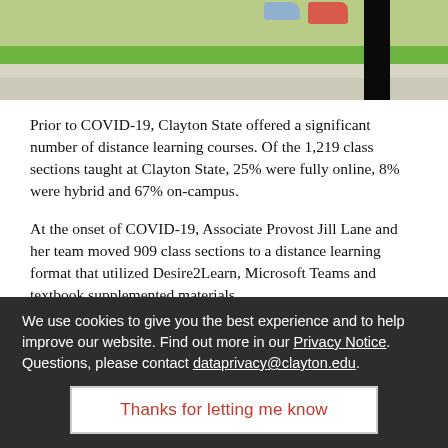[Figure (photo): Top portion of a campus outdoor photo showing grass, sidewalk, and a black post. Partial view of a person's shoes at top right.]
Prior to COVID-19, Clayton State offered a significant number of distance learning courses. Of the 1,219 class sections taught at Clayton State, 25% were fully online, 8% were hybrid and 67% on-campus.
At the onset of COVID-19, Associate Provost Jill Lane and her team moved 909 class sections to a distance learning format that utilized Desire2Learn, Microsoft Teams and textbook supplemented materials.
We use cookies to give you the best experience and to help improve our website. Find out more in our Privacy Notice. Questions, please contact dataprivacy@clayton.edu.
Thanks for letting me know